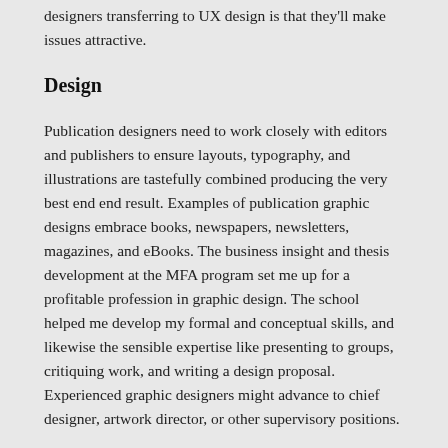designers transferring to UX design is that they'll make issues attractive.
Design
Publication designers need to work closely with editors and publishers to ensure layouts, typography, and illustrations are tastefully combined producing the very best end end result. Examples of publication graphic designs embrace books, newspapers, newsletters, magazines, and eBooks. The business insight and thesis development at the MFA program set me up for a profitable profession in graphic design. The school helped me develop my formal and conceptual skills, and likewise the sensible expertise like presenting to groups, critiquing work, and writing a design proposal. Experienced graphic designers might advance to chief designer, artwork director, or other supervisory positions.
Most occasions, UX designers make use of standardized conventions (like a toggle change for on/off states, dropdown list for multiple options, and so forth.) because users have come to anticipate these